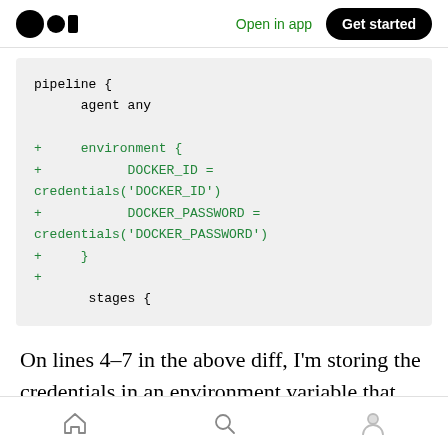Open in app | Get started
pipeline {
      agent any

+     environment {
+           DOCKER_ID = credentials('DOCKER_ID')
+           DOCKER_PASSWORD = credentials('DOCKER_PASSWORD')
+     }
+
       stages {
On lines 4–7 in the above diff, I'm storing the credentials in an environment variable that will
Home | Search | Profile